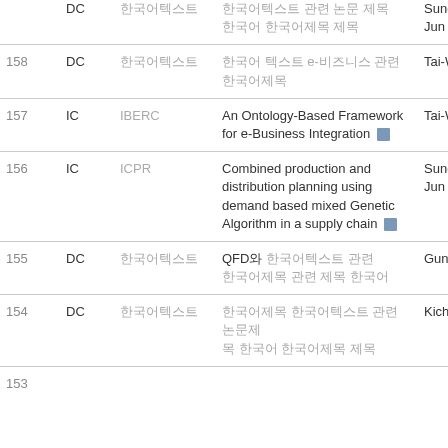| # | Type | Venue | Title | Author |
| --- | --- | --- | --- | --- |
| 158 | DC | 한국어텍스트 | 한국어 텍스트 e-비즈니스 관련 한국어제목 | Tai-Woo Cha |
| 157 | IC | IBERC | An Ontology-Based Framework for e-Business Integration 💾 | Tai-Woo Cha |
| 156 | IC | ICPR | Combined production and distribution planning using demand based mixed Genetic Algorithm in a supply chain 💾 | Sungwon Jun |
| 155 | DC | 한국어텍스트 | QFD와 한국어텍스트 관련 한국어제목 내용 관련 내용 | Gunhee Kim |
| 154 | DC | 한국어텍스트 | 한국어제목 한국어텍스트 관련 논문제 목 관련 한국어제목 제목 내용 | Kichang Lee |
| 153 |  |  |  |  |